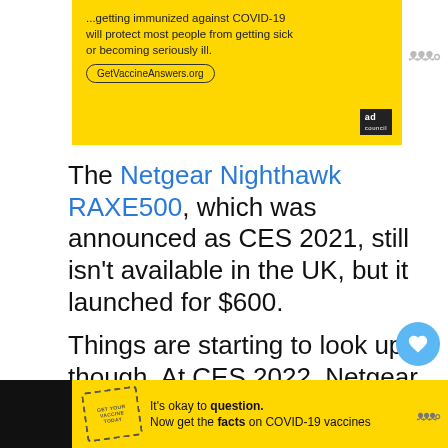[Figure (screenshot): Yellow advertisement banner for GetVaccineAnswers.org about COVID-19 vaccines]
The Netgear Nighthawk RAXE500, which was announced as CES 2021, still isn't available in the UK, but it launched for $600.
Things are starting to look up, though. At CES 2022, Netgear has announced the new, more affordable Netgear Nighthawk RAXE300.
[Figure (screenshot): Yellow advertisement banner: It's okay to question. Now get the facts on COVID-19 vaccines. GetVaccineAnswers.org]